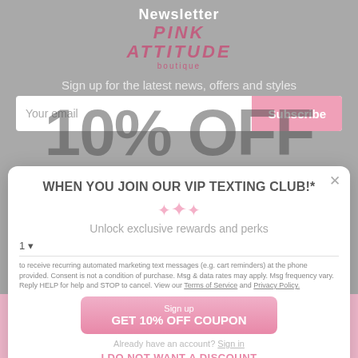Newsletter
PINK ATTITUDE boutique
Sign up for the latest news, offers and styles
10% OFF
Location
WHEN YOU JOIN OUR VIP TEXTING CLUB!*
Unlock exclusive rewards and perks
to receive recurring automated marketing text messages (e.g. cart reminders) at the phone provided. Consent is not a condition of purchase. Msg & data rates may apply. Msg frequency vary. Reply HELP for help and STOP to cancel. View our Terms of Service and Privacy Policy.
Sign up
GET 10% OFF COUPON
Already have an account? Sign in
I DO NOT WANT A DISCOUNT